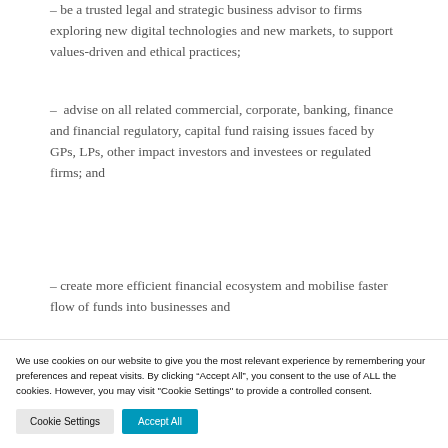– be a trusted legal and strategic business advisor to firms exploring new digital technologies and new markets, to support values-driven and ethical practices;
– advise on all related commercial, corporate, banking, finance and financial regulatory, capital fund raising issues faced by GPs, LPs, other impact investors and investees or regulated firms; and
– create more efficient financial ecosystem and mobilise faster flow of funds into businesses and
We use cookies on our website to give you the most relevant experience by remembering your preferences and repeat visits. By clicking “Accept All”, you consent to the use of ALL the cookies. However, you may visit "Cookie Settings" to provide a controlled consent.